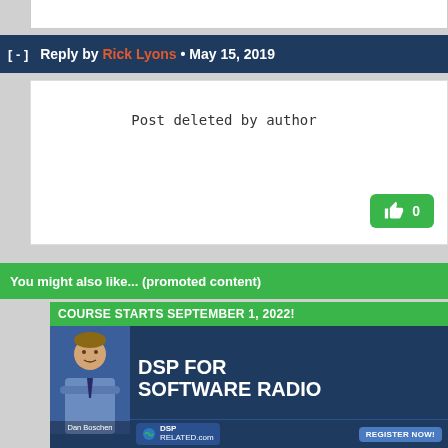Reply by Rick Lyons • May 15, 2019
Post deleted by author
You might also like... (promoted content)
[Figure (infographic): Advertisement banner for 'DSP for Software Radio' course starting September 1, 2022, featuring Dan Boschen, with DSP Related.com logo and Register Now button.]